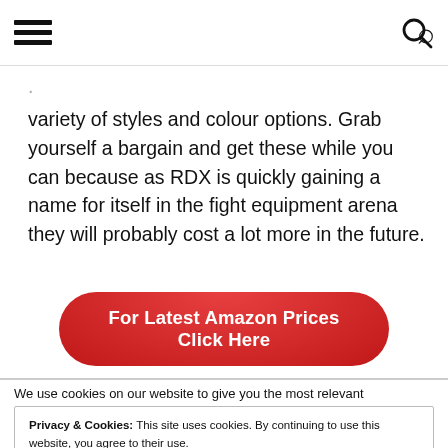[hamburger menu] [search icon]
variety of styles and colour options. Grab yourself a bargain and get these while you can because as RDX is quickly gaining a name for itself in the fight equipment arena they will probably cost a lot more in the future.
For Latest Amazon Prices Click Here
We use cookies on our website to give you the most relevant
Privacy & Cookies: This site uses cookies. By continuing to use this website, you agree to their use.
To find out more, including how to control cookies, see here: Cookie Policy
Close and accept